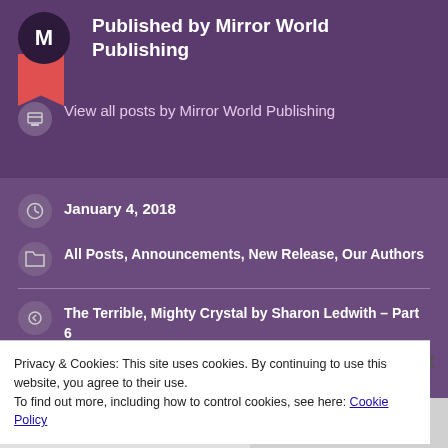Published by Mirror World Publishing
View all posts by Mirror World Publishing
January 4, 2018
All Posts, Announcements, New Release, Our Authors
The Terrible, Mighty Crystal by Sharon Ledwith – Part 6
Privacy & Cookies: This site uses cookies. By continuing to use this website, you agree to their use.
To find out more, including how to control cookies, see here: Cookie Policy
Close and accept